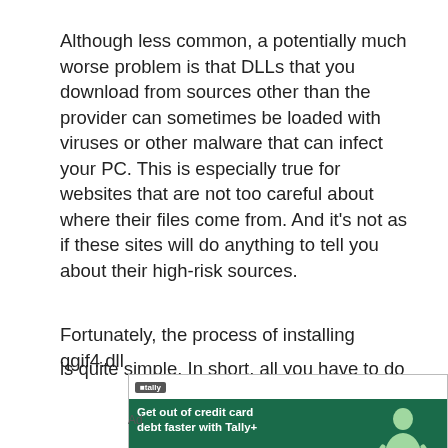Although less common, a potentially much worse problem is that DLLs that you download from sources other than the provider can sometimes be loaded with viruses or other malware that can infect your PC. This is especially true for websites that are not too careful about where their files come from. And it's not as if these sites will do anything to tell you about their high-risk sources.
Fortunately, the process of installing qgif4.dll is quite simple. In short, all you have to do is
[Figure (other): Advertisement for Tally: PayOff Debt Faster. Shows a dark green banner with a person meditating and text 'Get out of credit card debt faster with Tally+'. Has a Tally logo and a blue 'Learn more' button. Ad label shown below.]